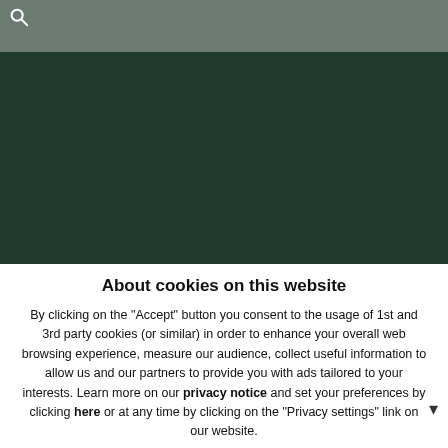[Figure (screenshot): Gray header bar with search icon in top-left corner]
[Figure (photo): Dark green/forest background image block]
About cookies on this website
By clicking on the "Accept" button you consent to the usage of 1st and 3rd party cookies (or similar) in order to enhance your overall web browsing experience, measure our audience, collect useful information to allow us and our partners to provide you with ads tailored to your interests. Learn more on our privacy notice and set your preferences by clicking here or at any time by clicking on the "Privacy settings" link on our website.